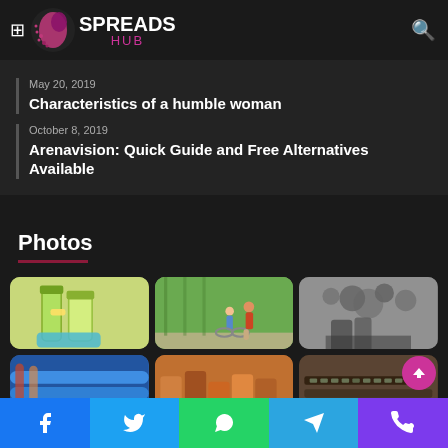SPREADS HUB — how the group printing process works
May 20, 2019
Characteristics of a humble woman
October 8, 2019
Arenavision: Quick Guide and Free Alternatives Available
Photos
[Figure (photo): Cleaning spray bottles and sponge on yellow background]
[Figure (photo): Adult helping a child ride a bicycle on a tree-lined road]
[Figure (photo): Black and white historical photo of person in a field]
[Figure (photo): Blue foam pool noodles]
[Figure (photo): Colorful market stall or display]
[Figure (photo): Vintage typewriter or keyboard close-up]